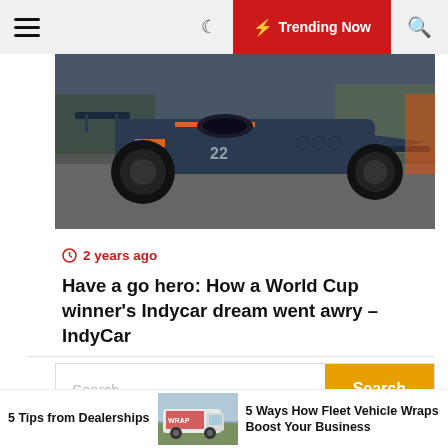☰  ☾  ⚡ Trending Now  🔍
[Figure (photo): An IndyCar racing car in dark blue/gray livery with orange accents, low angle shot on a race track.]
2 years ago
Have a go hero: How a World Cup winner's Indycar dream went awry – IndyCar
Search ...
Recent Posts
5 Tips from Dealerships
[Figure (photo): A white van with a vehicle wrap/graphic design on the side, parked outdoors.]
5 Ways How Fleet Vehicle Wraps Boost Your Business